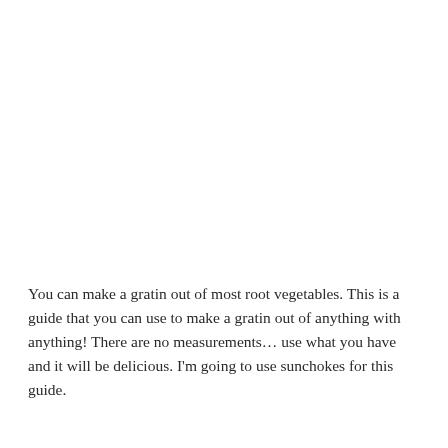You can make a gratin out of most root vegetables. This is a guide that you can use to make a gratin out of anything with anything! There are no measurements… use what you have and it will be delicious. I'm going to use sunchokes for this guide.